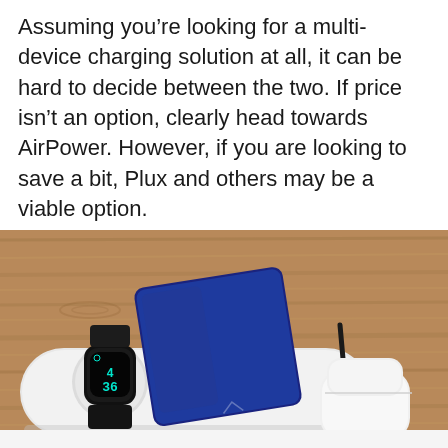Assuming you’re looking for a multi-device charging solution at all, it can be hard to decide between the two. If price isn’t an option, clearly head towards AirPower. However, if you are looking to save a bit, Plux and others may be a viable option.
[Figure (photo): A photo showing a multi-device wireless charging pad on a wooden table with an Apple Watch, a blue smartphone, and AirPods case placed on the white charging pad. A black cable is visible connected to the pad.]